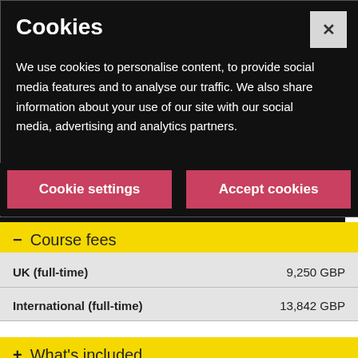Cookies
We use cookies to personalise content, to provide social media features and to analyse our traffic. We also share information about your use of our site with our social media, advertising and analytics partners.
[Figure (screenshot): Two buttons: 'Cookie settings' and 'Accept cookies', both red/pink on black background. Also a close (X) button top right.]
– Course fees
|  |  |
| --- | --- |
| UK (full-time) | 9,250 GBP |
| International (full-time) | 13,842 GBP |
+ What's included